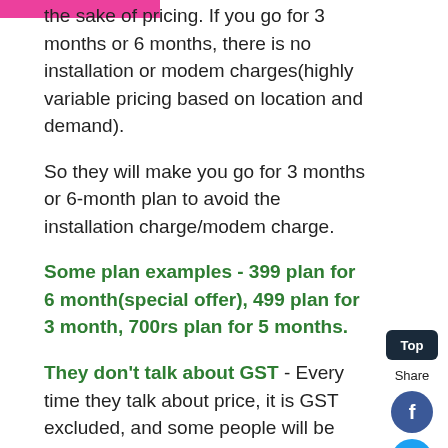the sake of pricing. If you go for 3 months or 6 months, there is no installation or modem charges(highly variable pricing based on location and demand).
So they will make you go for 3 months or 6-month plan to avoid the installation charge/modem charge.
Some plan examples - 399 plan for 6 month(special offer), 499 plan for 3 month, 700rs plan for 5 months.
They don't talk about GST - Every time they talk about price, it is GST excluded, and some people will be surprised when 18% of GST is added to the price.